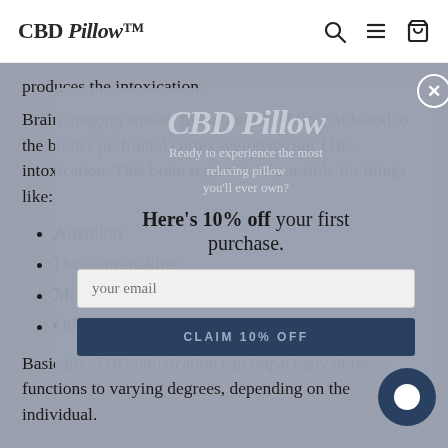CBD Pillow
produces the intoxication.
Brain imaging studies found increased flow of blood to the brain's prefrontal cortex region during THC intoxication. This brain region is responsible for things like:
Attention
Decision-making
Motor skills
Other executive functions
Basically, THC intoxication can impact any of these functions to varying degrees, depending on the individual.
[Figure (screenshot): Modal popup overlay with CBD Pillow logo watermark, tagline 'Ready to experience the most relaxing pillow you'll ever own?', headline 'Here's 10% off your first purchase.', email input field, and CLAIM 10% OFF button.]